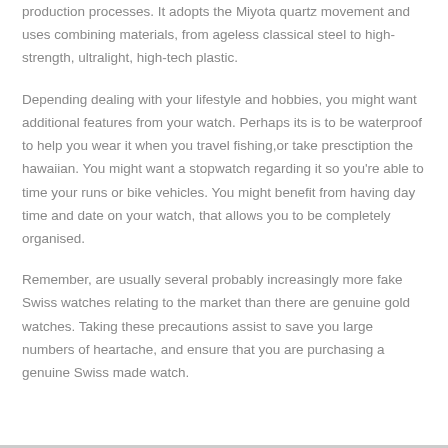production processes. It adopts the Miyota quartz movement and uses combining materials, from ageless classical steel to high-strength, ultralight, high-tech plastic.
Depending dealing with your lifestyle and hobbies, you might want additional features from your watch. Perhaps its is to be waterproof to help you wear it when you travel fishing,or take presctiption the hawaiian. You might want a stopwatch regarding it so you're able to time your runs or bike vehicles. You might benefit from having day time and date on your watch, that allows you to be completely organised.
Remember, are usually several probably increasingly more fake Swiss watches relating to the market than there are genuine gold watches. Taking these precautions assist to save you large numbers of heartache, and ensure that you are purchasing a genuine Swiss made watch.